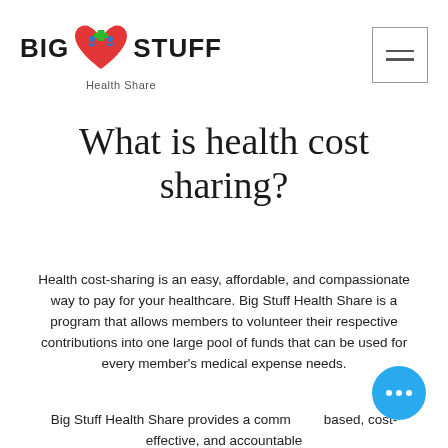[Figure (logo): Big Stuff Health Share logo with red heart, green medical cross, and blue figure icons, plus a hamburger menu button]
What is health cost sharing?
Health cost-sharing is an easy, affordable, and compassionate way to pay for your healthcare. Big Stuff Health Share is a program that allows members to volunteer their respective contributions into one large pool of funds that can be used for every member's medical expense needs.
Big Stuff Health Share provides a community-based, cost-effective, and accountable